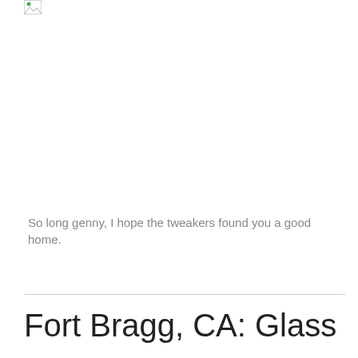[Figure (photo): Broken image placeholder icon in top left corner]
So long genny, I hope the tweakers found you a good home.
Fort Bragg, CA: Glass